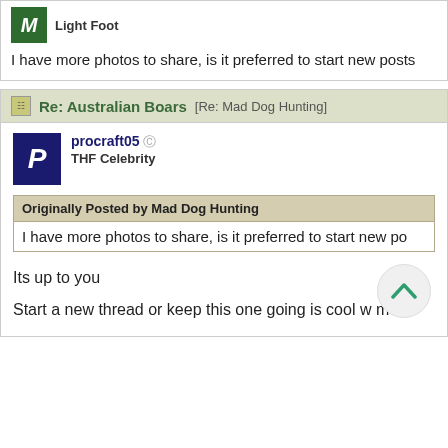M  Light Foot
I have more photos to share, is it preferred to start new posts
Re: Australian Boars [Re: Mad Dog Hunting]
procraft05  THF Celebrity
Originally Posted by Mad Dog Hunting
I have more photos to share, is it preferred to start new po
Its up to you
Start a new thread or keep this one going is cool w me